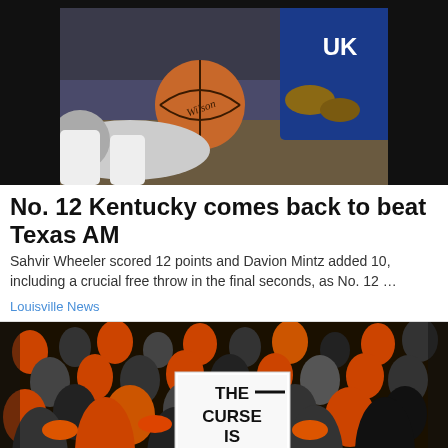[Figure (photo): Basketball action photo showing a Kentucky Wildcats player (in blue UK uniform) reaching for a loose Wilson basketball during a game]
No. 12 Kentucky comes back to beat Texas AM
Sahvir Wheeler scored 12 points and Davion Mintz added 10, including a crucial free throw in the final seconds, as No. 12 …
Louisville News
[Figure (photo): Crowd of fans in orange and black clothing at a football game. A fan holds a sign reading 'THE CURSE IS BROKEN'. Jersey number 9 visible in crowd.]